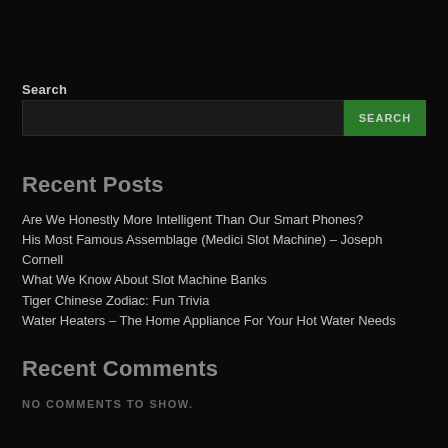Search
Recent Posts
Are We Honestly More Intelligent Than Our Smart Phones?
His Most Famous Assemblage (Medici Slot Machine) – Joseph Cornell
What We Know About Slot Machine Banks
Tiger Chinese Zodiac: Fun Trivia
Water Heaters – The Home Appliance For Your Hot Water Needs
Recent Comments
NO COMMENTS TO SHOW.